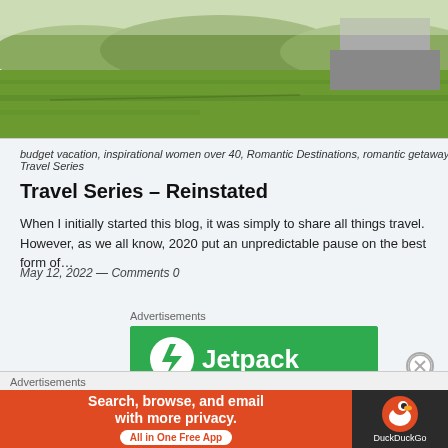[Figure (photo): Landscape photo showing a green meadow with a barn or building visible in the upper right corner, mountains or hills in the background]
budget vacation, inspirational women over 40, Romantic Destinations, romantic getaways, Travel Series
Travel Series – Reinstated
When I initially started this blog, it was simply to share all things travel. However, as we all know, 2020 put an unpredictable pause on the best form of…
May 12, 2022 — Comments 0
Advertisements
[Figure (screenshot): Jetpack advertisement banner with green background, Jetpack logo and text]
Advertisements
[Figure (screenshot): DuckDuckGo advertisement: Search, browse, and email with more privacy. All in One Free App. Orange left panel with text and white pill button, dark right panel with DuckDuckGo duck logo]